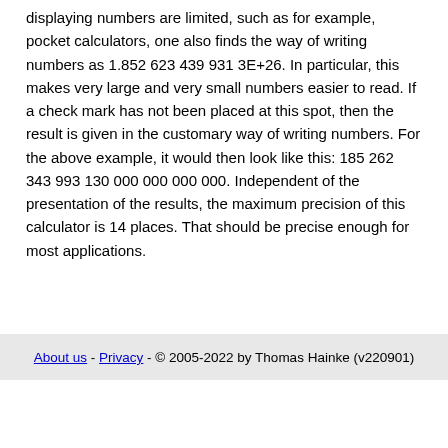displaying numbers are limited, such as for example, pocket calculators, one also finds the way of writing numbers as 1.852 623 439 931 3E+26. In particular, this makes very large and very small numbers easier to read. If a check mark has not been placed at this spot, then the result is given in the customary way of writing numbers. For the above example, it would then look like this: 185 262 343 993 130 000 000 000 000. Independent of the presentation of the results, the maximum precision of this calculator is 14 places. That should be precise enough for most applications.
About us - Privacy - © 2005-2022 by Thomas Hainke (v220901)